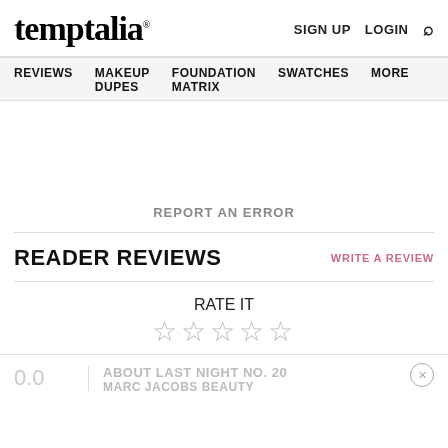temptalia® | SIGN UP | LOGIN | Search
REVIEWS | MAKEUP DUPES | FOUNDATION MATRIX | SWATCHES | MORE
REPORT AN ERROR
READER REVIEWS
WRITE A REVIEW
RATE IT ☆☆☆☆☆
0.0 ABOUT LAST NIGHT NO. 20 MARC JACOBS BEAUTY